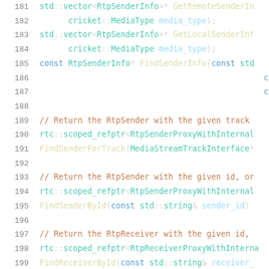Code listing lines 181-201: C++ header file with RtpSender/RtpReceiver method declarations
181  std::vector<RtpSenderInfo>* GetRemoteSenderIn
182       cricket::MediaType media_type);
183  std::vector<RtpSenderInfo>* GetLocalSenderInf
184       cricket::MediaType media_type);
185  const RtpSenderInfo* FindSenderInfo(const std
186                                             const std
187                                             const std
188
189  // Return the RtpSender with the given track
190  rtc::scoped_refptr<RtpSenderProxyWithInternal
191  FindSenderForTrack(MediaStreamTrackInterface*
192
193  // Return the RtpSender with the given id, or
194  rtc::scoped_refptr<RtpSenderProxyWithInternal
195  FindSenderById(const std::string& sender_id)
196
197  // Return the RtpReceiver with the given id,
198  rtc::scoped_refptr<RtpReceiverProxyWithInterna
199  FindReceiverById(const std::string& receiver_
200
201  TransceiverList* transceivers() { return &tra